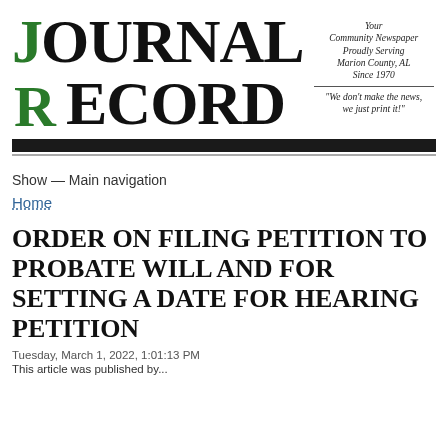[Figure (logo): Journal Record newspaper logo with green J and R letters, black OURNAL RECORD text]
Your Community Newspaper Proudly Serving Marion County, AL Since 1970 — "We don't make the news, we just print it!"
Show — Main navigation
Home
ORDER ON FILING PETITION TO PROBATE WILL AND FOR SETTING A DATE FOR HEARING PETITION
Tuesday, March 1, 2022, 1:01:13 PM
This article was published by...